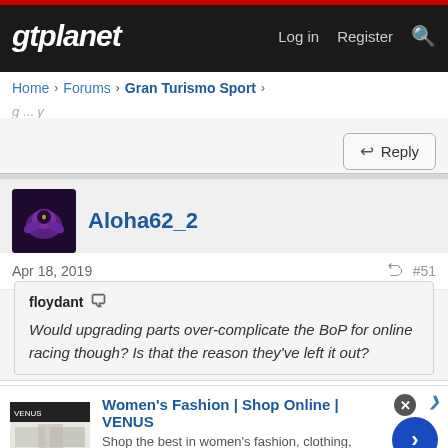gtplanet — Log in  Register
Home › Forums › Gran Turismo Sport ›
Reply
Aloha62_2
Apr 18, 2019  #51
floydant — Would upgrading parts over-complicate the BoP for online racing though? Is that the reason they've left it out?
[Figure (screenshot): Advertisement for Women's Fashion | Shop Online | VENUS with thumbnail image of fashion website]
Women's Fashion | Shop Online | VENUS
Shop the best in women's fashion, clothing, swimwear
venus.com